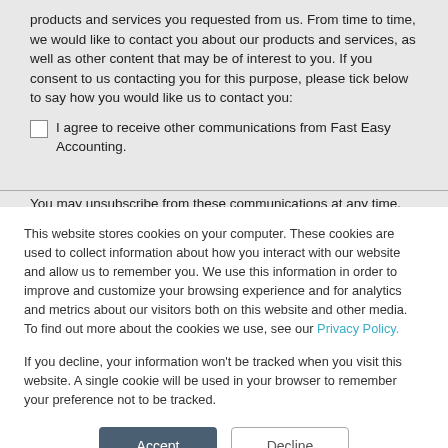products and services you requested from us. From time to time, we would like to contact you about our products and services, as well as other content that may be of interest to you. If you consent to us contacting you for this purpose, please tick below to say how you would like us to contact you:
I agree to receive other communications from Fast Easy Accounting.
You may unsubscribe from these communications at any time.
This website stores cookies on your computer. These cookies are used to collect information about how you interact with our website and allow us to remember you. We use this information in order to improve and customize your browsing experience and for analytics and metrics about our visitors both on this website and other media. To find out more about the cookies we use, see our Privacy Policy.
If you decline, your information won't be tracked when you visit this website. A single cookie will be used in your browser to remember your preference not to be tracked.